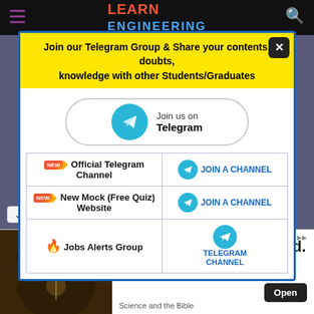LEARN ENGINEERING
Join our Telegram Group & Share your contents, doubts, knowledge with other Students/Graduates
[Figure (screenshot): Join us on Telegram button with cyan Telegram logo]
| Channel/Group | Action |
| --- | --- |
| NEW Official Telegram Channel | JOIN A CHANNEL |
| NEW New Mock (Free Quiz) Website | JOIN A CHANNEL |
| Jobs Alerts Group | TELEGRAM CHANNEL |
[Figure (photo): Forest path advertisement image with text: God spoke and it existed. Science and the Bible. Open button.]